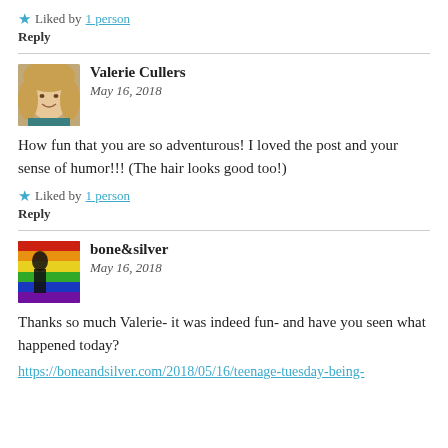★ Liked by 1 person
Reply
Valerie Cullers
May 16, 2018
How fun that you are so adventurous! I loved the post and your sense of humor!!! (The hair looks good too!)
★ Liked by 1 person
Reply
bone&silver
May 16, 2018
Thanks so much Valerie- it was indeed fun- and have you seen what happened today?
https://boneandsilver.com/2018/05/16/teenage-tuesday-being-